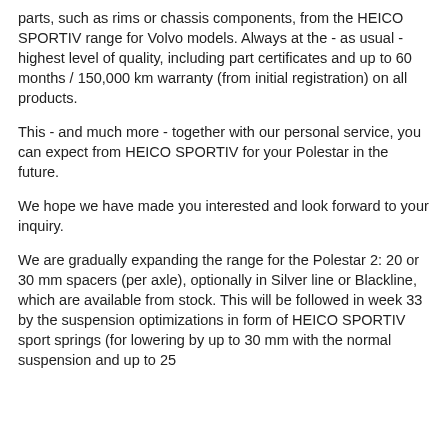parts, such as rims or chassis components, from the HEICO SPORTIV range for Volvo models. Always at the - as usual - highest level of quality, including part certificates and up to 60 months / 150,000 km warranty (from initial registration) on all products.
This - and much more - together with our personal service, you can expect from HEICO SPORTIV for your Polestar in the future.
We hope we have made you interested and look forward to your inquiry.
We are gradually expanding the range for the Polestar 2: 20 or 30 mm spacers (per axle), optionally in Silver line or Blackline, which are available from stock. This will be followed in week 33 by the suspension optimizations in form of HEICO SPORTIV sport springs (for lowering by up to 30 mm with the normal suspension and up to 25